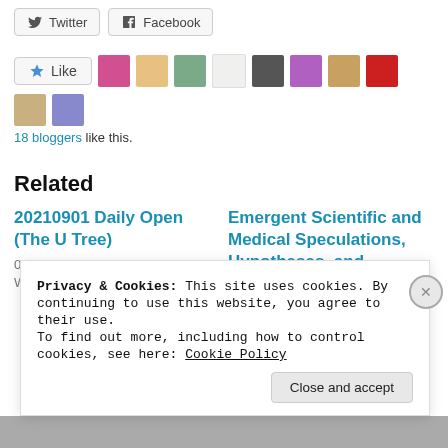[Figure (other): Social sharing buttons: Twitter and Facebook]
[Figure (other): Like button with star icon and a strip of blogger avatar thumbnails (10 avatars shown). 18 bloggers like this.]
18 bloggers like this.
Related
20210901 Daily Open (The U Tree)
09/01/2021 @ 00:28
With 729 comments
Emergent Scientific and Medical Speculations, Hypotheses, and
Privacy & Cookies: This site uses cookies. By continuing to use this website, you agree to their use.
To find out more, including how to control cookies, see here: Cookie Policy
Close and accept